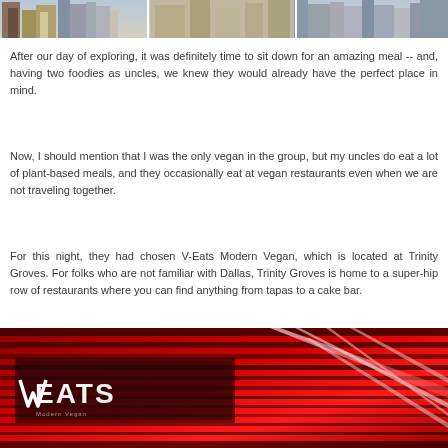[Figure (photo): Aerial view of city buildings/skyline, partial image at top of page]
After our day of exploring, it was definitely time to sit down for an amazing meal -- and, having two foodies as uncles, we knew they would already have the perfect place in mind.
Now, I should mention that I was the only vegan in the group, but my uncles do eat a lot of plant-based meals, and they occasionally eat at vegan restaurants even when we are not traveling together.
For this night, they had chosen V-Eats Modern Vegan, which is located at Trinity Groves. For folks who are not familiar with Dallas, Trinity Groves is home to a super-hip row of restaurants where you can find anything from tapas to a cake bar.
[Figure (photo): V-Eats Modern Vegan restaurant exterior with red neon lighting and logo sign at night]